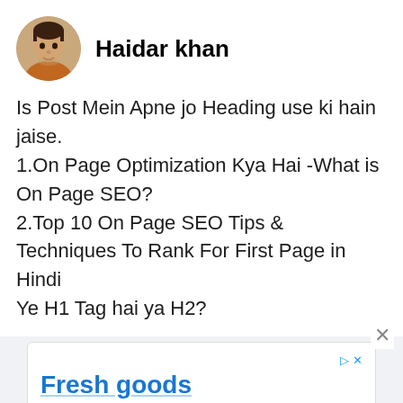[Figure (illustration): Circular avatar photo of a young man named Haidar khan, wearing an orange/brown jacket]
Haidar khan
Is Post Mein Apne jo Heading use ki hain jaise.
1.On Page Optimization Kya Hai -What is On Page SEO?
2.Top 10 On Page SEO Tips & Techniques To Rank For First Page in Hindi
Ye H1 Tag hai ya H2?
[Figure (other): Advertisement banner for 'Fresh goods' — Guido's Original NY Style Pizzeria, with Open button]